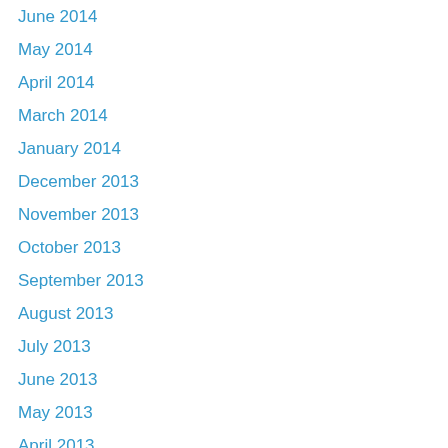June 2014
May 2014
April 2014
March 2014
January 2014
December 2013
November 2013
October 2013
September 2013
August 2013
July 2013
June 2013
May 2013
April 2013
March 2013
February 2013
January 2013
December 2012
November 2012